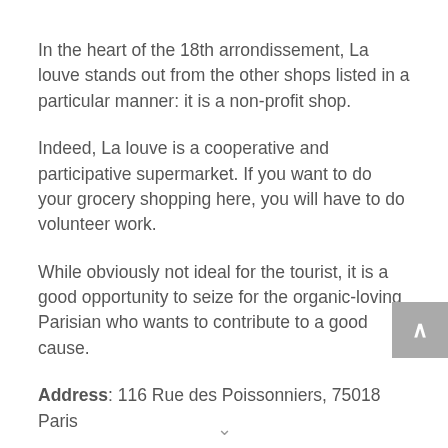In the heart of the 18th arrondissement, La louve stands out from the other shops listed in a particular manner: it is a non-profit shop.
Indeed, La louve is a cooperative and participative supermarket. If you want to do your grocery shopping here, you will have to do volunteer work.
While obviously not ideal for the tourist, it is a good opportunity to seize for the organic-loving Parisian who wants to contribute to a good cause.
Address: 116 Rue des Poissonniers, 75018 Paris